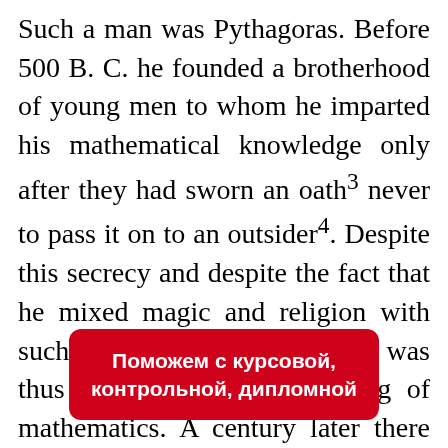Such a man was Pythagoras. Before 500 B. C. he founded a brotherhood of young men to whom he imparted his mathematical knowledge only after they had sworn an oath³ never to pass it on to an outsider⁴. Despite this secrecy and despite the fact that he mixed magic and religion with such instruction, Pythagoras was thus a pioneer of the teaching of mathematics. A century later there were, in Athens, schools where philosophers such as Plato taught young men law, politics, public speaking and mathematics. In these new schools there were no oaths of secrecy. Teachers and pupils [banner] r they wished
Поможем с курсовой, контрольной, дипломной